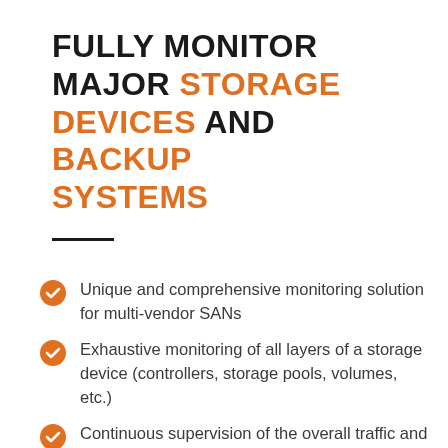FULLY MONITOR MAJOR STORAGE DEVICES AND BACKUP SYSTEMS
Unique and comprehensive monitoring solution for multi-vendor SANs
Exhaustive monitoring of all layers of a storage device (controllers, storage pools, volumes, etc.)
Continuous supervision of the overall traffic and activity of all